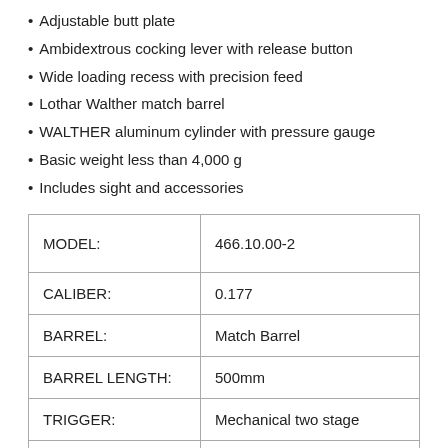Adjustable butt plate
Ambidextrous cocking lever with release button
Wide loading recess with precision feed
Lothar Walther match barrel
WALTHER aluminum cylinder with pressure gauge
Basic weight less than 4,000 g
Includes sight and accessories
| MODEL: | 466.10.00-2 |
| CALIBER: | 0.177 |
| BARREL: | Match Barrel |
| BARREL LENGTH: | 500mm |
| TRIGGER: | Mechanical two stage |
| CAPACITY: | 350 shot |